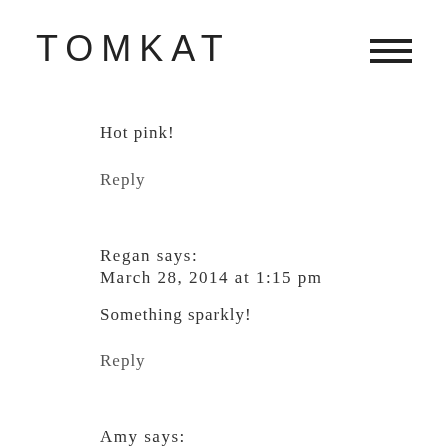TOMKAT
Hot pink!
Reply
Regan says:
March 28, 2014 at 1:15 pm
Something sparkly!
Reply
Amy says:
March 28, 2014 at 1:15 pm